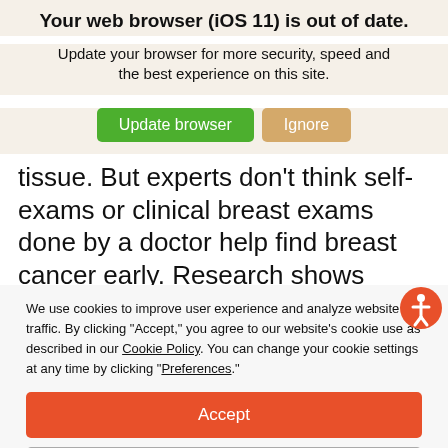Your web browser (iOS 11) is out of date.
Update your browser for more security, speed and the best experience on this site.
[Figure (screenshot): Two buttons: green 'Update browser' button and tan/gold 'Ignore' button]
tissue. But experts don't think self-exams or clinical breast exams done by a doctor help find breast cancer early. Research shows you're more likely to feel a lump or see an area of concern in your
[Figure (illustration): Orange circular accessibility icon with person symbol]
We use cookies to improve user experience and analyze website traffic. By clicking “Accept,” you agree to our website’s cookie use as described in our Cookie Policy. You can change your cookie settings at any time by clicking “Preferences.”
Accept
Preferences